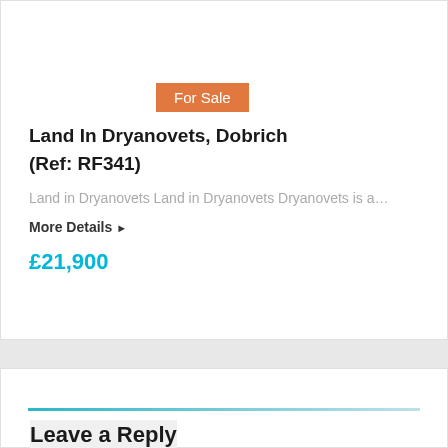For Sale
Land In Dryanovets, Dobrich (Ref: RF341)
Land in Dryanovets Land in Dryanovets Dryanovets is a…
More Details ▸
£21,900
Leave a Reply